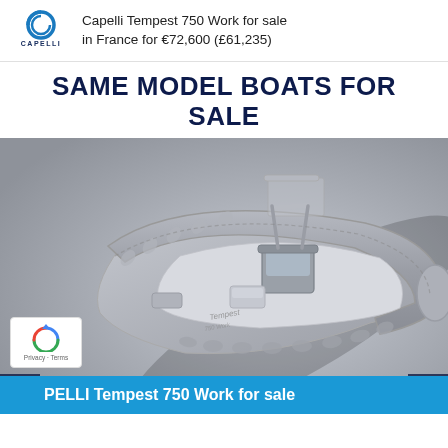Capelli Tempest 750 Work for sale in France for €72,600 (£61,235)
SAME MODEL BOATS FOR SALE
[Figure (photo): 3D render of a Capelli Tempest 750 Work inflatable rigid boat (RIB) in grey, viewed from above at an angle, with a central console and inflatable tube hull.]
PELLI Tempest 750 Work for sale